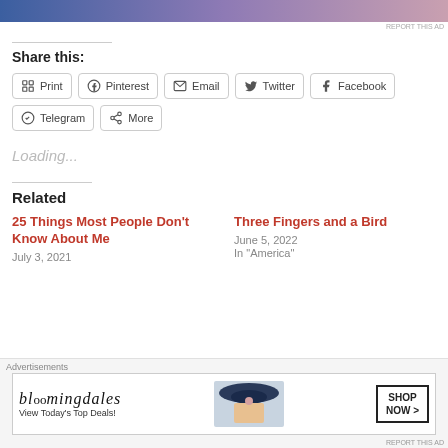[Figure (other): Advertisement banner image with gradient (blue to pink)]
REPORT THIS AD
Share this:
Print
Pinterest
Email
Twitter
Facebook
Telegram
More
Loading...
Related
25 Things Most People Don't Know About Me
July 3, 2021
Three Fingers and a Bird
June 5, 2022
In "America"
Advertisements
[Figure (other): Bloomingdale's advertisement: View Today's Top Deals! SHOP NOW >]
REPORT THIS AD